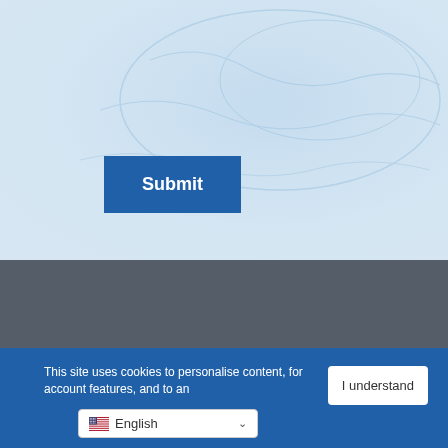[Figure (screenshot): Blue light background with world map pattern behind a Submit button]
Submit
About Us   Support   News   Careers   Terms and Conditions   Privacy Policy   Quality Policy   Declaration of Conformity
This site uses cookies to personalise content, for account features, and to an... I understand
English